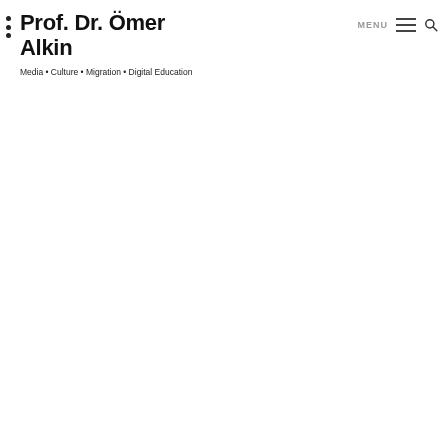Prof. Dr. Ömer Alkin — Media • Culture • Migration • Digital Education — MENU
Prof. Dr. Ömer Alkin
Media • Culture • Migration • Digital Education